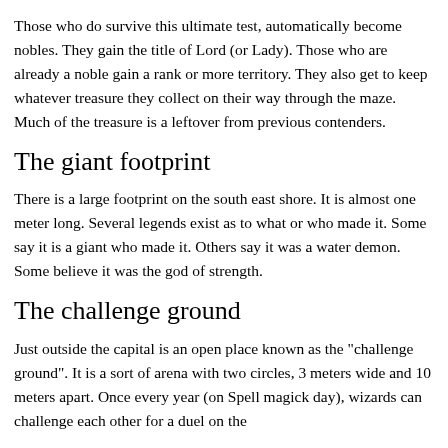Those who do survive this ultimate test, automatically become nobles. They gain the title of Lord (or Lady). Those who are already a noble gain a rank or more territory. They also get to keep whatever treasure they collect on their way through the maze. Much of the treasure is a leftover from previous contenders.
The giant footprint
There is a large footprint on the south east shore. It is almost one meter long. Several legends exist as to what or who made it. Some say it is a giant who made it. Others say it was a water demon. Some believe it was the god of strength.
The challenge ground
Just outside the capital is an open place known as the "challenge ground". It is a sort of arena with two circles, 3 meters wide and 10 meters apart. Once every year (on Spell magick day), wizards can challenge each other for a duel on the